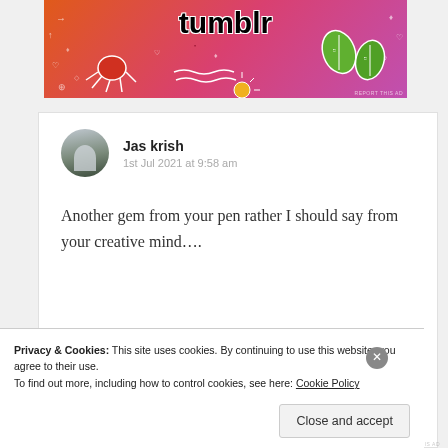[Figure (screenshot): Tumblr advertisement banner with colorful orange-to-pink gradient background, doodle illustrations including an octopus, leaves, and decorative elements, with 'tumblr' text in large bold black font]
Jas krish
1st Jul 2021 at 9:58 am
Another gem from your pen rather I should say from your creative mind….
Privacy & Cookies: This site uses cookies. By continuing to use this website, you agree to their use.
To find out more, including how to control cookies, see here: Cookie Policy
Close and accept